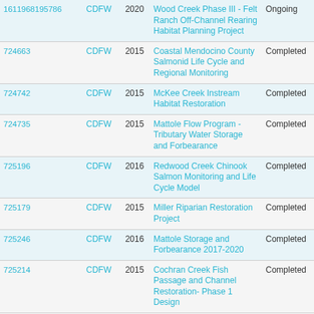| ID | Agency | Year | Project Name | Status |
| --- | --- | --- | --- | --- |
| 1611968195786 | CDFW | 2020 | Wood Creek Phase III - Felt Ranch Off-Channel Rearing Habitat Planning Project | Ongoing |
| 724663 | CDFW | 2015 | Coastal Mendocino County Salmonid Life Cycle and Regional Monitoring | Completed |
| 724742 | CDFW | 2015 | McKee Creek Instream Habitat Restoration | Completed |
| 724735 | CDFW | 2015 | Mattole Flow Program -Tributary Water Storage and Forbearance | Completed |
| 725196 | CDFW | 2016 | Redwood Creek Chinook Salmon Monitoring and Life Cycle Model | Completed |
| 725179 | CDFW | 2015 | Miller Riparian Restoration Project | Completed |
| 725246 | CDFW | 2016 | Mattole Storage and Forbearance 2017-2020 | Completed |
| 725214 | CDFW | 2015 | Cochran Creek Fish Passage and Channel Restoration- Phase 1 Design | Completed |